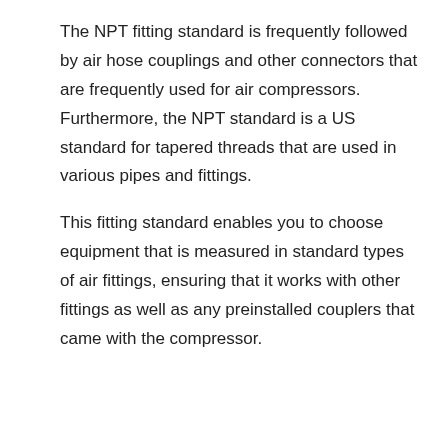The NPT fitting standard is frequently followed by air hose couplings and other connectors that are frequently used for air compressors. Furthermore, the NPT standard is a US standard for tapered threads that are used in various pipes and fittings.
This fitting standard enables you to choose equipment that is measured in standard types of air fittings, ensuring that it works with other fittings as well as any preinstalled couplers that came with the compressor.